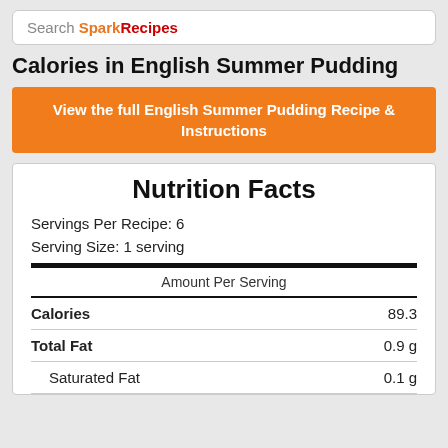Search SparkRecipes
Calories in English Summer Pudding
View the full English Summer Pudding Recipe & Instructions
| Nutrient | Amount Per Serving |
| --- | --- |
| Calories | 89.3 |
| Total Fat | 0.9 g |
| Saturated Fat | 0.1 g |